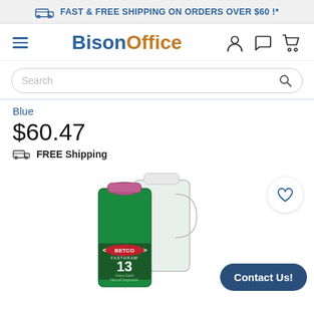FAST & FREE SHIPPING ON ORDERS OVER $60 !*
[Figure (logo): BisonOffice logo with navigation icons (hamburger menu, user, chat, cart)]
Search
Blue
$60.47
FREE Shipping
[Figure (photo): Betco Fastdraw 13 Green Earth Natural Degreaser product bottle, green liquid, approx 1 gallon jug with purple cap, white handle jug behind it. Contact Us! button overlay.]